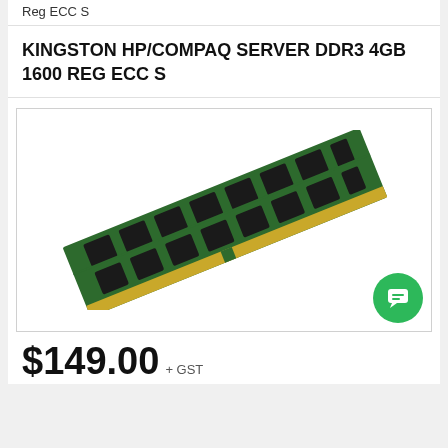Reg ECC S
KINGSTON HP/COMPAQ SERVER DDR3 4GB 1600 REG ECC S
[Figure (photo): Photo of a Kingston DDR3 4GB 1600 MHz Registered ECC server RAM module, shown diagonally with green PCB and black memory chips, gold edge connector visible.]
$149.00 + GST